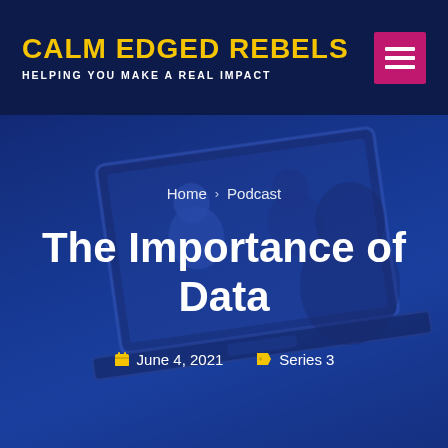CALM EDGED REBELS — HELPING YOU MAKE A REAL IMPACT
[Figure (screenshot): Background image showing two people on a laptop video call screen, overlaid with a dark blue gradient]
Home > Podcast
The Importance of Data
June 4, 2021  Series 3